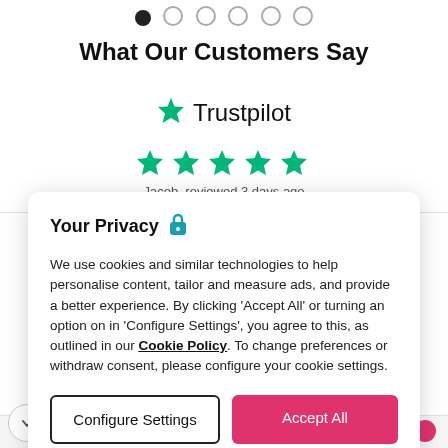[Figure (other): Carousel dot navigation indicators — one filled black dot followed by five empty circle dots]
What Our Customers Say
[Figure (logo): Trustpilot logo — green star followed by the word Trustpilot in dark text]
[Figure (other): Five green star rating icons]
Jacob, reviewed 3 days ago
Your Privacy 🔒
We use cookies and similar technologies to help personalise content, tailor and measure ads, and provide a better experience. By clicking 'Accept All' or turning an option on in 'Configure Settings', you agree to this, as outlined in our Cookie Policy. To change preferences or withdraw consent, please configure your cookie settings.
Configure Settings
Accept All
Recently Viewed
Clear All